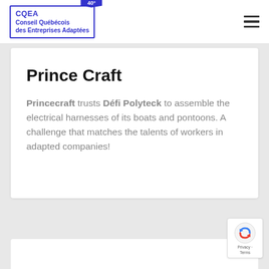CQEA Conseil Québécois des Entreprises Adaptées 40°
Prince Craft
Princecraft trusts Défi Polyteck to assemble the electrical harnesses of its boats and pontoons. A challenge that matches the talents of workers in adapted companies!
[Figure (logo): reCAPTCHA privacy badge with arrow icon, Privacy - Terms text]